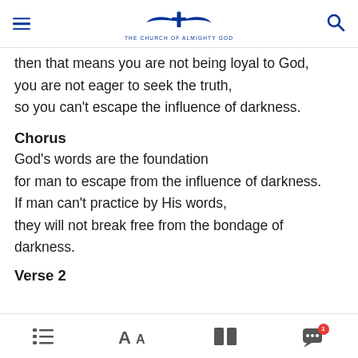THE CHURCH OF ALMIGHTY GOD
then that means you are not being loyal to God,
you are not eager to seek the truth,
so you can't escape the influence of darkness.
Chorus
God's words are the foundation
for man to escape from the influence of darkness.
If man can't practice by His words,
they will not break free from the bondage of darkness.
Verse 2